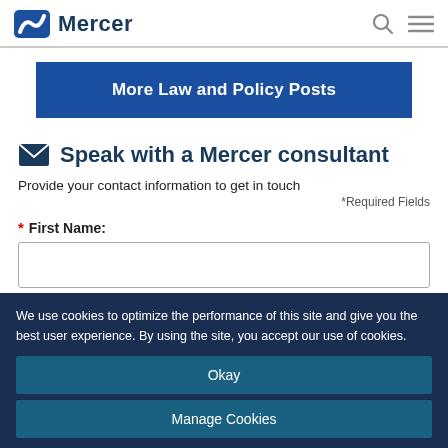Mercer
More Law and Policy Posts
Speak with a Mercer consultant
Provide your contact information to get in touch
*Required Fields
* First Name:
We use cookies to optimize the performance of this site and give you the best user experience. By using the site, you accept our use of cookies.
Okay
Manage Cookies